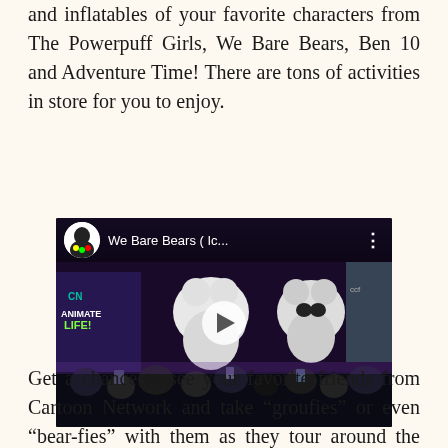and inflatables of your favorite characters from The Powerpuff Girls, We Bare Bears, Ben 10 and Adventure Time! There are tons of activities in store for you to enjoy.
[Figure (screenshot): A video thumbnail/player showing We Bare Bears (Ic... title with a YouTube-style interface. Shows inflatable bear costumes on stage with a crowd below. Play button visible in center.]
Get a chance to see your favorite friends from Cartoon Network and take “groufies” or even “bear-fies” with them as they tour around the country. Did we mention that we’re giving away loads of prizes?